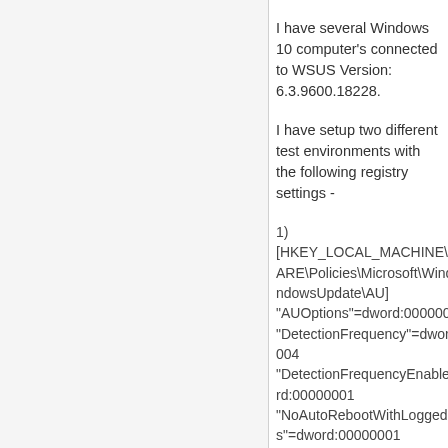I have several Windows 10 computer's connected to WSUS Version: 6.3.9600.18228.
I have setup two different test environments with the following registry settings -
1)
[HKEY_LOCAL_MACHINE\SOFTWARE\Policies\Microsoft\Windows\WindowsUpdate\AU]
"AUOptions"=dword:00000004
"DetectionFrequency"=dword:00000004
"DetectionFrequencyEnabled"=dword:00000001
"NoAutoRebootWithLoggedOnUsers"=dword:00000001
"NoAutoUpdate"=dword:00000000
"RebootRelaunchTimeout"=dword:0